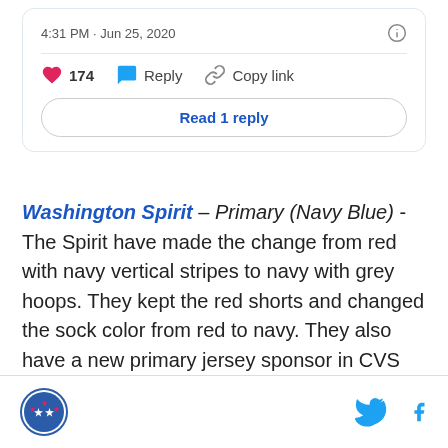[Figure (screenshot): Tweet card UI showing timestamp '4:31 PM · Jun 25, 2020' with info icon, divider, action bar with heart (174), reply, copy link buttons, and 'Read 1 reply' button]
Washington Spirit – Primary (Navy Blue) - The Spirit have made the change from red with navy vertical stripes to navy with grey hoops. They kept the red shorts and changed the sock color from red to navy. They also have a new primary jersey sponsor in CVS Health. This is a definite upgrade over the 2018 jersey and is a sneaky good overall look. The navy and grey look clean and keeping the red shorts ties this to the
Footer with site logo and social media icons (Twitter, Facebook)